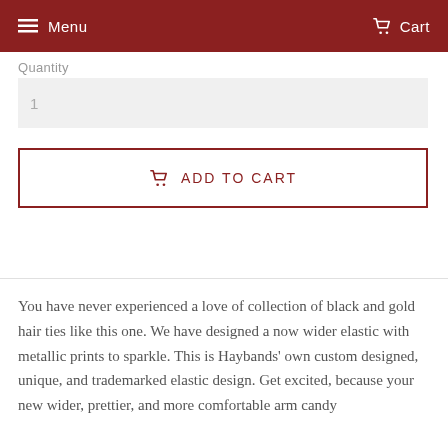Menu   Cart
Quantity
1
ADD TO CART
You have never experienced a love of collection of black and gold hair ties like this one. We have designed a now wider elastic with metallic prints to sparkle. This is Haybands' own custom designed, unique, and trademarked elastic design. Get excited, because your new wider, prettier, and more comfortable arm candy